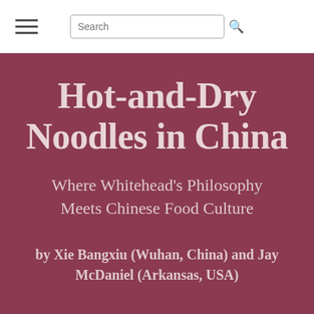Search
Hot-and-Dry Noodles in China
Where Whitehead's Philosophy Meets Chinese Food Culture
by Xie Bangxiu (Wuhan, China) and Jay McDaniel (Arkansas, USA)